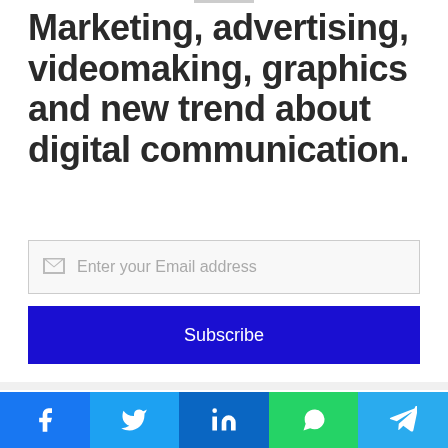Marketing, advertising, videomaking, graphics and new trend about digital communication.
Enter your Email address
Subscribe
Related Articles